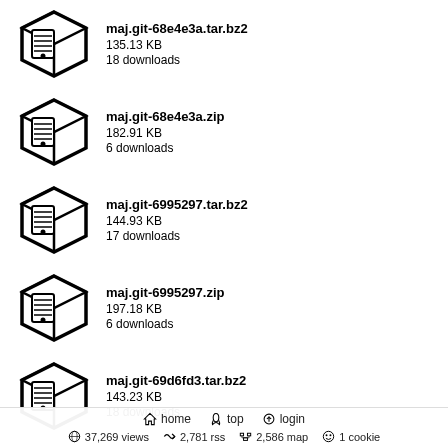maj.git-68e4e3a.tar.bz2
135.13 KB
18 downloads
maj.git-68e4e3a.zip
182.91 KB
6 downloads
maj.git-6995297.tar.bz2
144.93 KB
17 downloads
maj.git-6995297.zip
197.18 KB
6 downloads
maj.git-69d6fd3.tar.bz2
143.23 KB
18 downloads
maj.git-69d6fd3.zip
194.33 KB
6 downloads
home  top  login  37,269 views  2,781 rss  2,586 map  1 cookie